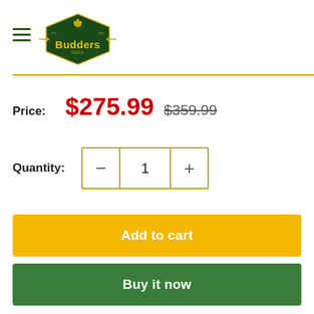[Figure (logo): Budders brand logo — dark green hexagon/diamond shape with yellow text 'Budders' and decorative wheat stalks, with horizontal arrow-like bars on each side]
Price: $275.99  $359.99
Quantity: 1
Add to cart
Buy it now
Share this product